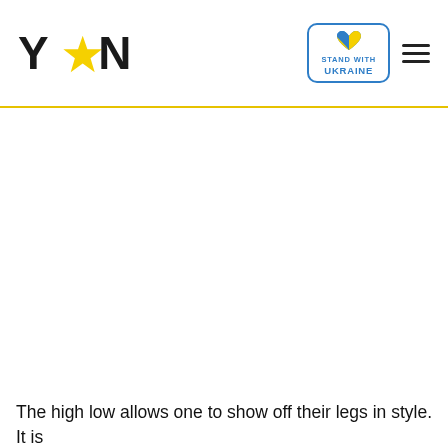YEN — Stand With Ukraine
[Figure (photo): Large image area (content not visible), white/blank in the original screenshot]
The high low allows one to show off their legs in style. It is